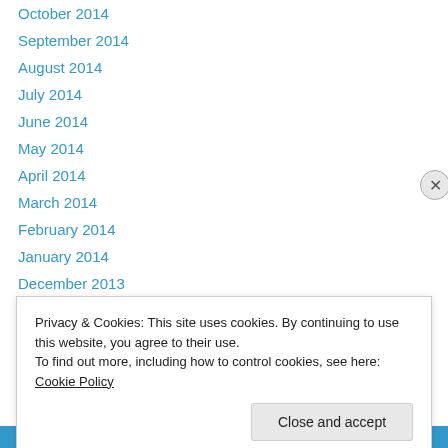October 2014
September 2014
August 2014
July 2014
June 2014
May 2014
April 2014
March 2014
February 2014
January 2014
December 2013
November 2013
October 2013
September 2013
Privacy & Cookies: This site uses cookies. By continuing to use this website, you agree to their use. To find out more, including how to control cookies, see here: Cookie Policy
Close and accept